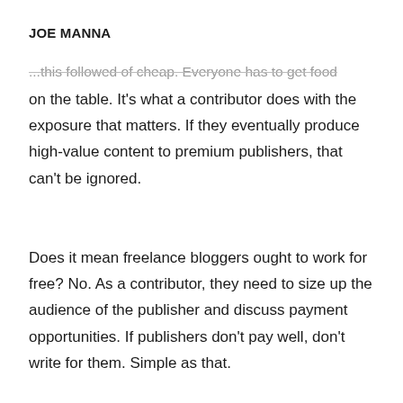JOE MANNA
...this followed of cheap. Everyone has to get food
on the table. It's what a contributor does with the exposure that matters. If they eventually produce high-value content to premium publishers, that can't be ignored.
Does it mean freelance bloggers ought to work for free? No. As a contributor, they need to size up the audience of the publisher and discuss payment opportunities. If publishers don't pay well, don't write for them. Simple as that.